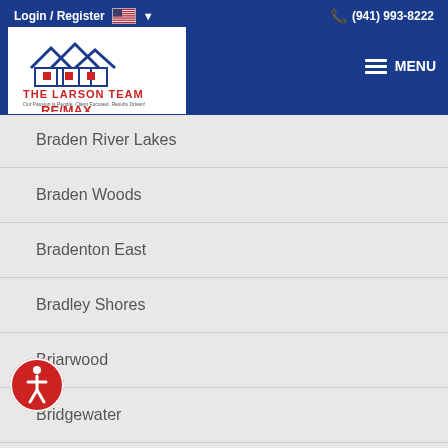Login / Register  (941) 993-8222  MENU
[Figure (logo): The Larson Team RE/MAX Anchor Realty logo with house illustration]
Braden River Lakes
Braden Woods
Bradenton East
Bradley Shores
Briarwood
Bridgewater
Brookside Estates
Cambridge Village
Candlewood